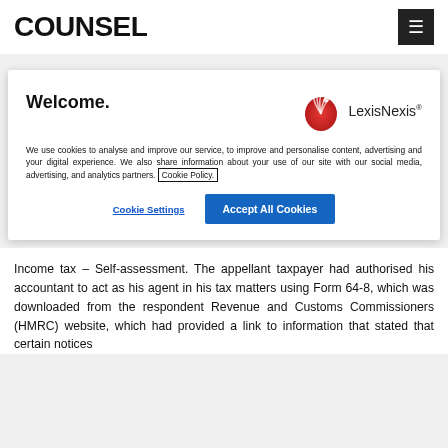COUNSEL
Welcome.
[Figure (logo): LexisNexis logo with red phoenix icon and 'LexisNexis' wordmark]
We use cookies to analyse and improve our service, to improve and personalise content, advertising and your digital experience. We also share information about your use of our site with our social media, advertising, and analytics partners. Cookie Policy.
Cookie Settings   Accept All Cookies
Income tax – Self-assessment. The appellant taxpayer had authorised his accountant to act as his agent in his tax matters using Form 64-8, which was downloaded from the respondent Revenue and Customs Commissioners (HMRC) website, which had provided a link to information that stated that certain notices